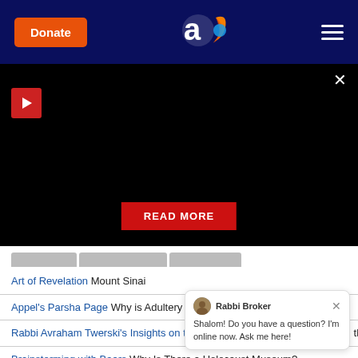Donate | aish.com logo | hamburger menu
[Figure (screenshot): Video player area with black background, play button top left, READ MORE button centered at bottom, close X button top right]
Art of Revelation Mount Sinai
Appel's Parsha Page Why is Adultery So Bad?
Rabbi Avraham Twerski's Insights on the Torah Only United Can We Fulfill the Torah
Brainstorming with Baars Why Is There a Holocaust Museum?
Blogging the Bible Humble Pie
The Color of Heaven How The Japanese
Inspiring Audio Minute Divine Paradigm
Rabbi Broker — Shalom! Do you have a question? I'm online now. Ask me here!